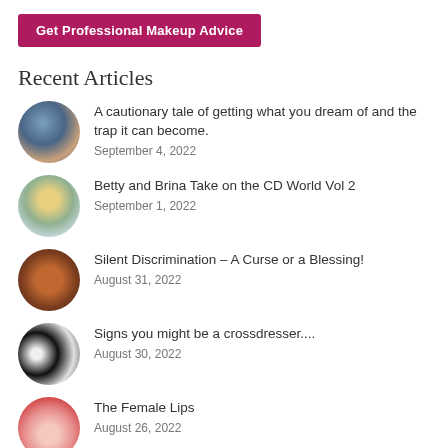[Figure (other): Button: Get Professional Makeup Advice on dark pink/magenta background]
Recent Articles
A cautionary tale of getting what you dream of and the trap it can become. September 4, 2022
Betty and Brina Take on the CD World Vol 2 September 1, 2022
Silent Discrimination – A Curse or a Blessing! August 31, 2022
Signs you might be a crossdresser.... August 30, 2022
The Female Lips August 26, 2022